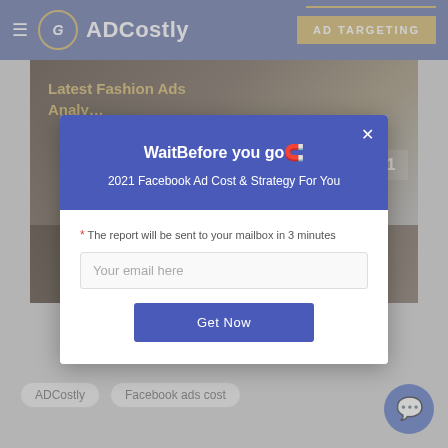ADCostly | AD TARGETING
[Figure (screenshot): Background webpage showing 'Latest Fashion Ads Analysis In 2021' article with dark brownish image blocks]
[Figure (screenshot): Modal popup dialog with blue header and white body containing email subscription form]
Wait⁠Before you go️
2021 Facebook Ad Cost & Strategy For You
* The report will be sent to your mailbox in 3 minutes
Your email here
Get Now
ADCostly
Facebook ads cost